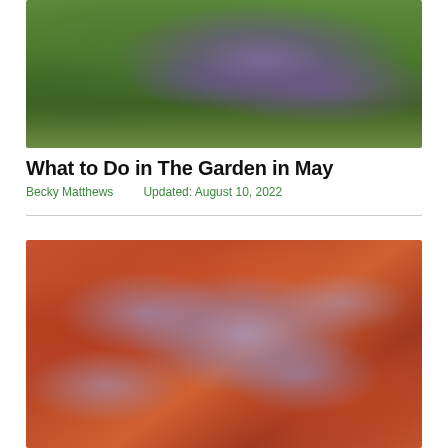[Figure (photo): Purple/violet flowers amid green foliage in a garden setting]
What to Do in The Garden in May
Becky Matthews   Updated: August 10, 2022
[Figure (photo): Red-orange Heuchera leaves mixed with light purple/lavender small flowers in a colorful garden planting]